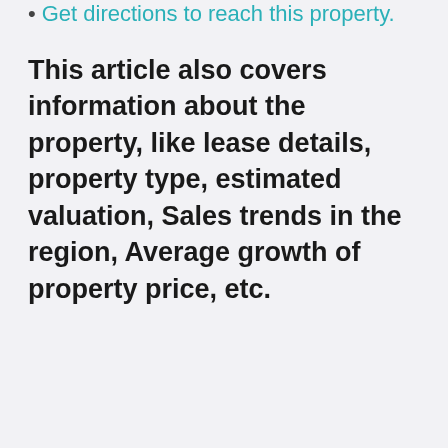Get directions to reach this property.
This article also covers information about the property, like lease details, property type, estimated valuation, Sales trends in the region, Average growth of property price, etc.